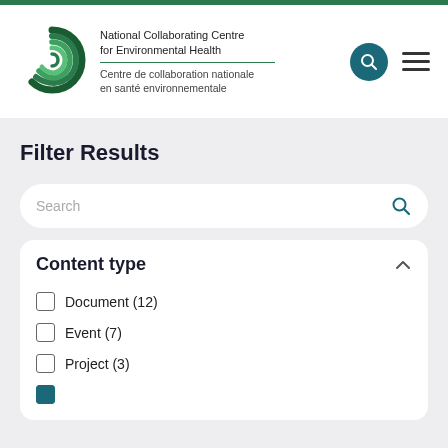[Figure (logo): National Collaborating Centre for Environmental Health circular green logo with swirl design]
National Collaborating Centre for Environmental Health
Centre de collaboration nationale en santé environnementale
Filter Results
Search
Content type
Document (12)
Event (7)
Project (3)